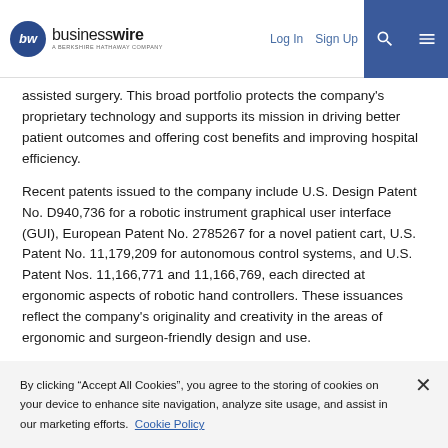businesswire — A Berkshire Hathaway Company | Log In | Sign Up
assisted surgery. This broad portfolio protects the company's proprietary technology and supports its mission in driving better patient outcomes and offering cost benefits and improving hospital efficiency.
Recent patents issued to the company include U.S. Design Patent No. D940,736 for a robotic instrument graphical user interface (GUI), European Patent No. 2785267 for a novel patient cart, U.S. Patent No. 11,179,209 for autonomous control systems, and U.S. Patent Nos. 11,166,771 and 11,166,769, each directed at ergonomic aspects of robotic hand controllers. These issuances reflect the company's originality and creativity in the areas of ergonomic and surgeon-friendly design and use.
By clicking “Accept All Cookies”, you agree to the storing of cookies on your device to enhance site navigation, analyze site usage, and assist in our marketing efforts. Cookie Policy